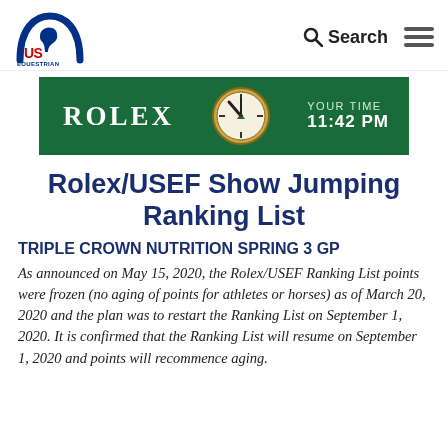US Equestrian | Search | Menu
[Figure (illustration): Rolex advertisement banner with green background showing Rolex logo, a clock face, and text 'YOUR TIME 11:42 PM']
Rolex/USEF Show Jumping Ranking List
TRIPLE CROWN NUTRITION SPRING 3 GP
As announced on May 15, 2020, the Rolex/USEF Ranking List points were frozen (no aging of points for athletes or horses) as of March 20, 2020 and the plan was to restart the Ranking List on September 1, 2020. It is confirmed that the Ranking List will resume on September 1, 2020 and points will recommence aging.